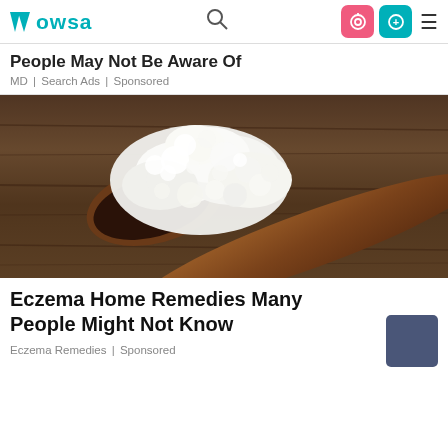WOWSA (logo) | search icon | icons | menu
People May Not Be Aware Of
MD | Search Ads | Sponsored
[Figure (photo): Kefir grains on a wooden spoon against a rustic wooden background — white, cauliflower-like clusters on a dark brown wooden spoon.]
Eczema Home Remedies Many People Might Not Know
Eczema Remedies | Sponsored